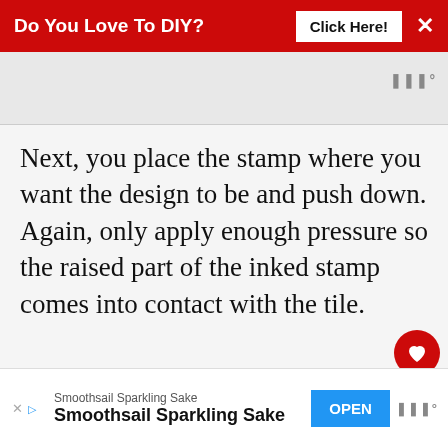Do You Love To DIY? Click Here! ×
Next, you place the stamp where you want the design to be and push down. Again, only apply enough pressure so the raised part of the inked stamp comes into contact with the tile.
WHAT'S NEXT → Cookie Sheet Makeover
And try to apply even pressure, so you do
Smoothsail Sparkling Sake  Smoothsail Sparkling Sake  OPEN